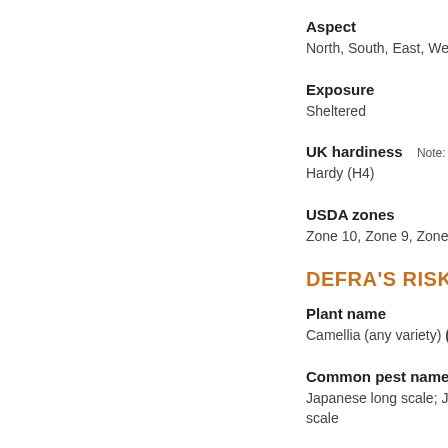Aspect
North, South, East, West
Exposure
Sheltered
UK hardiness
Hardy (H4)
USDA zones
Zone 10, Zone 9, Zone 8,
DEFRA'S RISK RE
Plant name
Camellia (any variety) (Ca
Common pest name
Japanese long scale; Japa scale
Scientific pest name
Lopholeucaspis japonica
Type
Insect